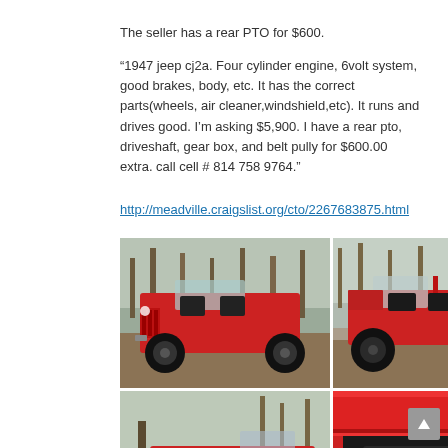The seller has a rear PTO for $600.
“1947 jeep cj2a. Four cylinder engine, 6volt system, good brakes, body, etc. It has the correct parts(wheels, air cleaner,windshield,etc). It runs and drives good. I’m asking $5,900. I have a rear pto, driveshaft, gear box, and belt pully for $600.00 extra. call cell # 814 758 9764.”
http://meadville.craigslist.org/cto/2267683875.html
[Figure (photo): Four photos of a red 1947 Jeep CJ2A shown from different angles: front-left view, right side view, rear-left view, and engine compartment view.]